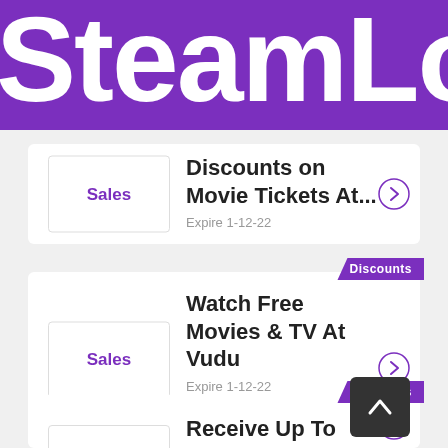SteamLo
Sales — Discounts on Movie Tickets At... Expire 1-12-22
Sales — Watch Free Movies & TV At Vudu — Expire 1-12-22
35% — Receive Up To 35% Off Disney Princess